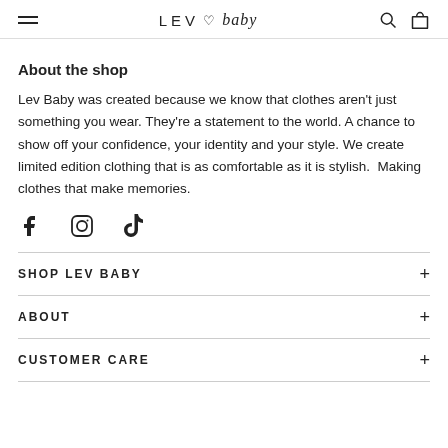LEV ♡ baby
About the shop
Lev Baby was created because we know that clothes aren't just something you wear. They're a statement to the world. A chance to show off your confidence, your identity and your style. We create limited edition clothing that is as comfortable as it is stylish.  Making clothes that make memories.
[Figure (illustration): Social media icons: Facebook, Instagram, TikTok]
SHOP LEV BABY
ABOUT
CUSTOMER CARE